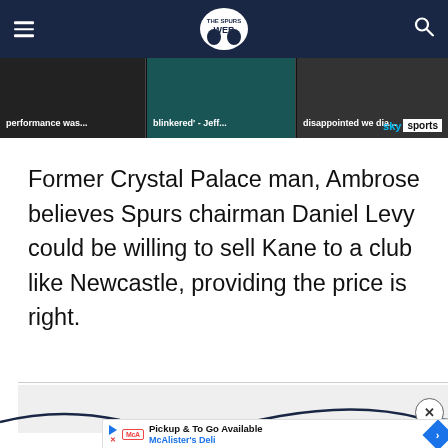The Spurs Web
[Figure (screenshot): Video strip showing three partially visible headlines with Sky Sports branding. Headlines: 'performance was...', 'blinkered' - Jeff...', 'disappointed we dia...']
Former Crystal Palace man, Ambrose believes Spurs chairman Daniel Levy could be willing to sell Kane to a club like Newcastle, providing the price is right.
[Figure (other): Advertisement area with wave graphic and close button, followed by McAlister's Deli 'Pickup & To Go Available' ad banner]